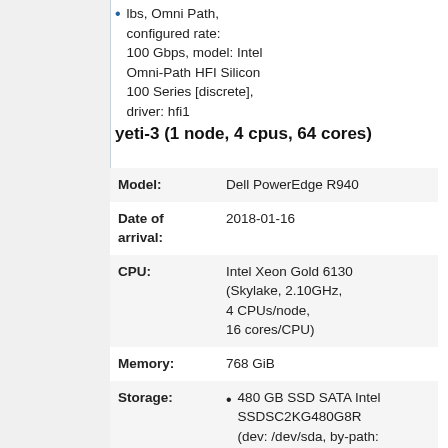lbs, Omni Path, configured rate: 100 Gbps, model: Intel Omni-Path HFI Silicon 100 Series [discrete], driver: hfi1
yeti-3 (1 node, 4 cpus, 64 cores)
| Model: | Dell PowerEdge R940 |
| Date of arrival: | 2018-01-16 |
| CPU: | Intel Xeon Gold 6130 (Skylake, 2.10GHz, 4 CPUs/node, 16 cores/CPU) |
| Memory: | 768 GiB |
| Storage: | • 480 GB SSD SATA Intel SSDSC2KG480G8R (dev: /dev/sda, by-path: |